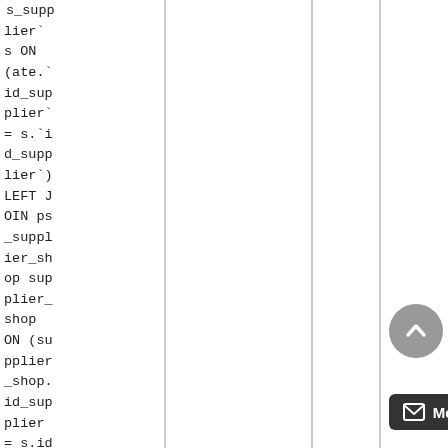s_suppliers ON (ate.`id_supplier` = s.`id_supplier`) LEFT JOIN ps_supplier_shop supplier_shop ON (supplier_shop.id_supplier = s.id_supplier AND supplier_s